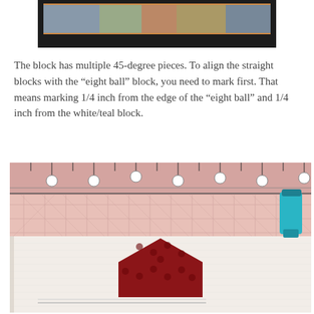[Figure (photo): Partial view of quilt blocks with colorful fabric pieces on a dark background, cropped at top of page]
The block has multiple 45-degree pieces. To align the straight blocks with the “eight ball” block, you need to mark first. That means marking 1/4 inch from the edge of the “eight ball” and 1/4 inch from the white/teal block.
[Figure (photo): Close-up photo of quilt block assembly with a pink cutting mat and ruler showing grid lines, a red patterned fabric diamond/arrow shape on white fabric, and a teal marker in the upper right corner]